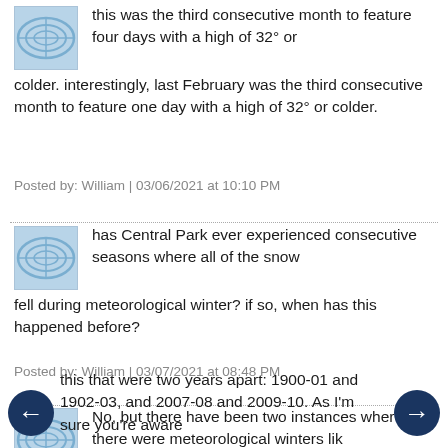this was the third consecutive month to feature four days with a high of 32° or colder. interestingly, last February was the third consecutive month to feature one day with a high of 32° or colder.
Posted by: William | 03/06/2021 at 10:10 PM
has Central Park ever experienced consecutive seasons where all of the snow fell during meteorological winter? if so, when has this happened before?
Posted by: William | 03/07/2021 at 08:48 PM
No, but there have been two instances where there were meteorological winters like this that were two years apart: 1900-01 and 1902-03, and 2007-08 and 2009-10. As I'm sure you're aware